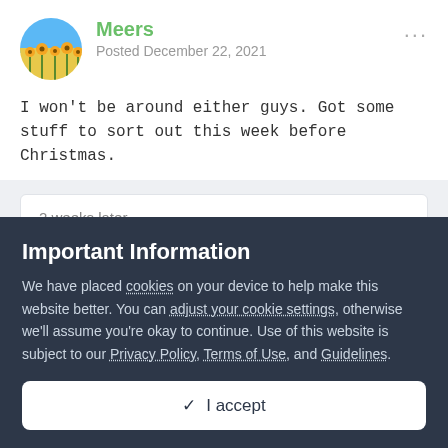[Figure (illustration): Round avatar with sunflower field photo]
Meers
Posted December 22, 2021
I won't be around either guys. Got some stuff to sort out this week before Christmas.
2 weeks later...
[Figure (illustration): Round avatar with red/dark circular image]
Sane
Important Information
We have placed cookies on your device to help make this website better. You can adjust your cookie settings, otherwise we'll assume you're okay to continue. Use of this website is subject to our Privacy Policy, Terms of Use, and Guidelines.
✓  I accept